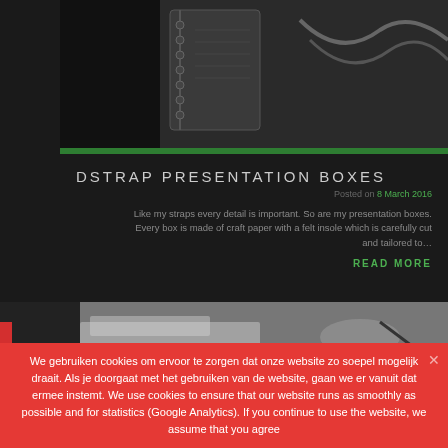[Figure (photo): Grayscale photo of desk items including a spiral notebook and cables/straps, viewed from above]
DSTRAP PRESENTATION BOXES
Posted on 8 March 2016
Like my straps every detail is important. So are my presentation boxes. Every box is made of craft paper with a felt insole which is carefully cut and tailored to…
READ MORE
[Figure (photo): Grayscale photo of hands working with paper/documents on a desk]
We gebruiken cookies om ervoor te zorgen dat onze website zo soepel mogelijk draait. Als je doorgaat met het gebruiken van de website, gaan we er vanuit dat ermee instemt. We use cookies to ensure that our website runs as smoothly as possible and for statistics (Google Analytics). If you continue to use the website, we assume that you agree
Ok